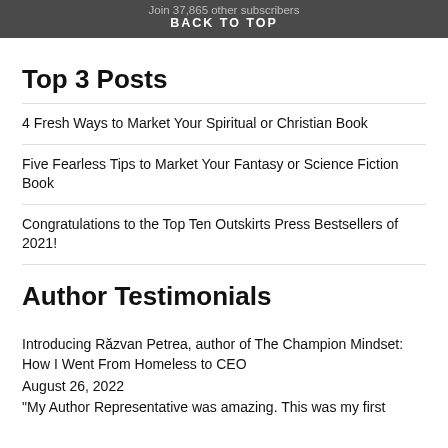Join 37,865 other subscribers
BACK TO TOP
Top 3 Posts
4 Fresh Ways to Market Your Spiritual or Christian Book
Five Fearless Tips to Market Your Fantasy or Science Fiction Book
Congratulations to the Top Ten Outskirts Press Bestsellers of 2021!
Author Testimonials
Introducing Răzvan Petrea, author of The Champion Mindset: How I Went From Homeless to CEO
August 26, 2022
"My Author Representative was amazing. This was my first